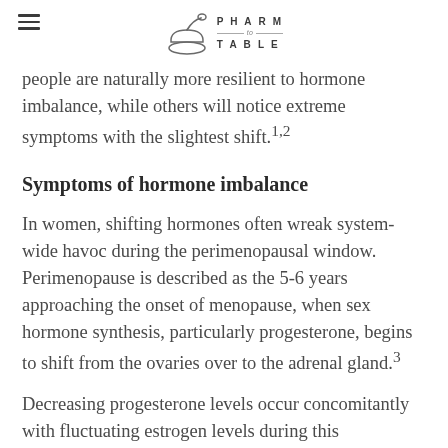PHARM TO TABLE
people are naturally more resilient to hormone imbalance, while others will notice extreme symptoms with the slightest shift.1,2
Symptoms of hormone imbalance
In women, shifting hormones often wreak system-wide havoc during the perimenopausal window. Perimenopause is described as the 5-6 years approaching the onset of menopause, when sex hormone synthesis, particularly progesterone, begins to shift from the ovaries over to the adrenal gland.3
Decreasing progesterone levels occur concomitantly with fluctuating estrogen levels during this